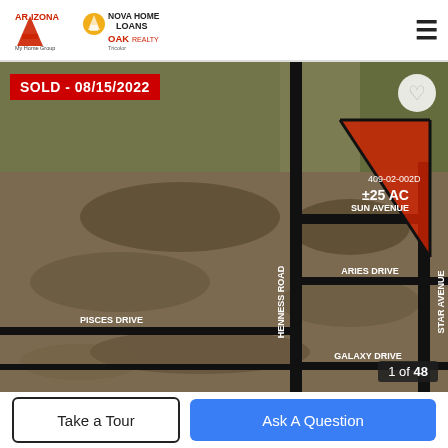[Figure (logo): Arizona My Home Group logo and NOVA Home Loans / OAK Realty logo in page header]
[Figure (map): Aerial satellite map showing land parcel 409-02-002D, approximately 25 acres, marked with a red triangle. Roads labeled: Henness Road (vertical), Sun Avenue, Aries Drive, Pisces Drive, Galaxy Drive (horizontal), Star Avenue (vertical right). SOLD - 08/15/2022 badge in top left. Heart icon top right. Photo counter '1 of 48' bottom right.]
Take a Tour
Ask A Question